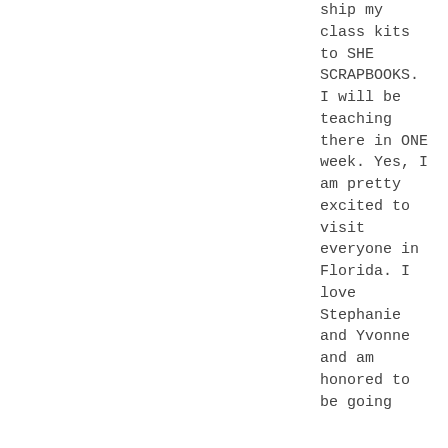ship my class kits to SHE SCRAPBOOKS. I will be teaching there in ONE week. Yes, I am pretty excited to visit everyone in Florida. I love Stephanie and Yvonne and am honored to be going